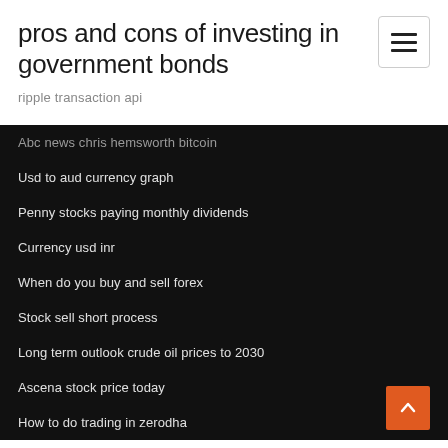pros and cons of investing in government bonds
ripple transaction api
Abc news chris hemsworth bitcoin
Usd to aud currency graph
Penny stocks paying monthly dividends
Currency usd inr
When do you buy and sell forex
Stock sell short process
Long term outlook crude oil prices to 2030
Ascena stock price today
How to do trading in zerodha